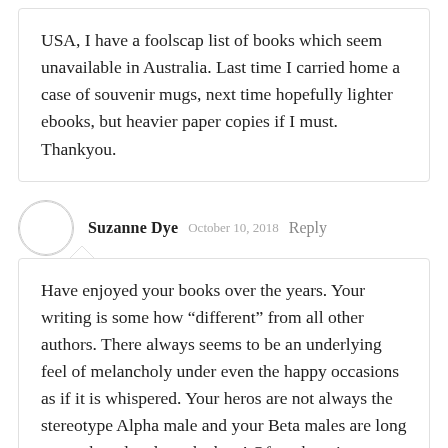USA, I have a foolscap list of books which seem unavailable in Australia. Last time I carried home a case of souvenir mugs, next time hopefully lighter ebooks, but heavier paper copies if I must. Thankyou.
Suzanne Dye   October 10, 2018   Reply
Have enjoyed your books over the years. Your writing is some how “different” from all other authors. There always seems to be an underlying feel of melancholy under even the happy occasions as if it is whispered. Your heros are not always the stereotype Alpha male and your Beta males are long remembered and are the best! Often there is a moment three-fourths of the way into the book that is like a light bulb moment. That is not